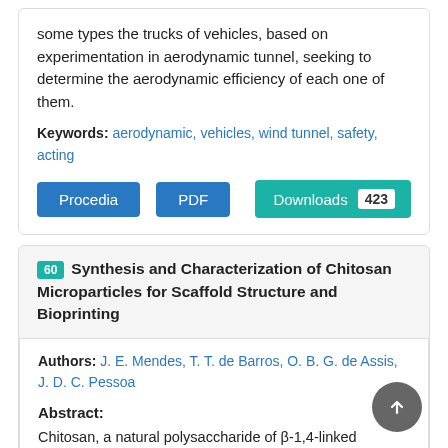some types the trucks of vehicles, based on experimentation in aerodynamic tunnel, seeking to determine the aerodynamic efficiency of each one of them.
Keywords: aerodynamic, vehicles, wind tunnel, safety, acting
Procedia  PDF  Downloads 423
60 Synthesis and Characterization of Chitosan Microparticles for Scaffold Structure and Bioprinting
Authors: J. E. Mendes, T. T. de Barros, O. B. G. de Assis, J. D. C. Pessoa
Abstract:
Chitosan, a natural polysaccharide of β-1,4-linked